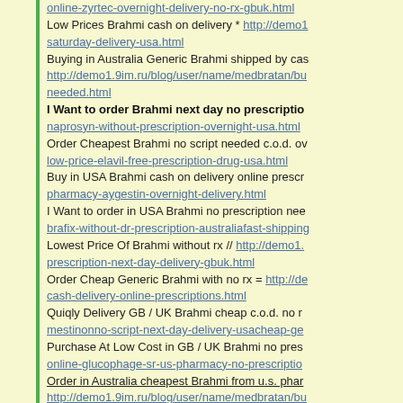online-zyrtec-overnight-delivery-no-rx-gbuk.html
Low Prices Brahmi cash on delivery * http://demo1... saturday-delivery-usa.html
Buying in Australia Generic Brahmi shipped by cas... http://demo1.9im.ru/blog/user/name/medbratan/bu... needed.html
I Want to order Brahmi next day no prescriptio... naprosyn-without-prescription-overnight-usa.html
Order Cheapest Brahmi no script needed c.o.d. ov... low-price-elavil-free-prescription-drug-usa.html
Buy in USA Brahmi cash on delivery online prescr... pharmacy-aygestin-overnight-delivery.html
I Want to order in USA Brahmi no prescription nee... brafix-without-dr-prescription-australiafast-shipping...
Lowest Price Of Brahmi without rx // http://demo1.... prescription-next-day-delivery-gbuk.html
Order Cheap Generic Brahmi with no rx = http://de... cash-delivery-online-prescriptions.html
Quiqly Delivery GB / UK Brahmi cheap c.o.d. no r... mestinonno-script-next-day-delivery-usacheap-ge...
Purchase At Low Cost in GB / UK Brahmi no pres... online-glucophage-sr-us-pharmacy-no-prescriptio...
Order in Australia cheapest Brahmi from u.s. phar... http://demo1.9im.ru/blog/user/name/medbratan/bu...